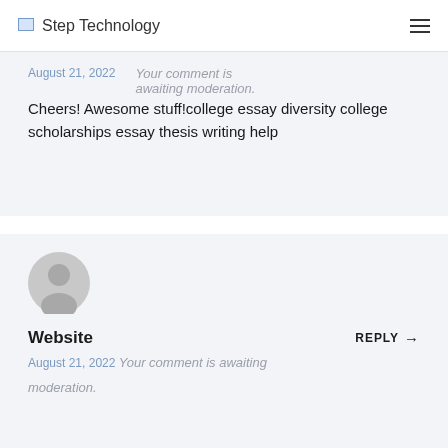Step Technology
August 21, 2022   Your comment is awaiting moderation.
Cheers! Awesome stuff!college essay diversity college scholarships essay thesis writing help
[Figure (illustration): Generic user avatar — grey silhouette of a person on a light grey circle background]
Website   REPLY →
August 21, 2022  Your comment is awaiting moderation.